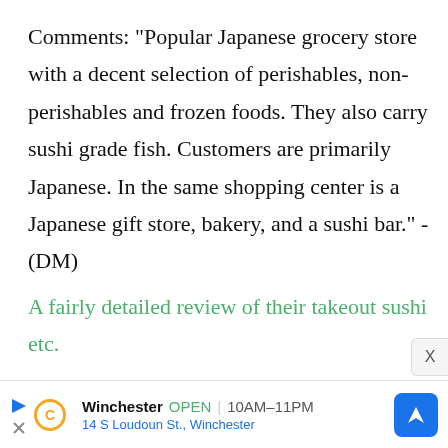Comments: "Popular Japanese grocery store with a decent selection of perishables, non-perishables and frozen foods. They also carry sushi grade fish. Customers are primarily Japanese. In the same shopping center is a Japanese gift store, bakery, and a sushi bar." -(DM)
A fairly detailed review of their takeout sushi etc.
Winchester OPEN 10AM–11PM 14 S Loudoun St., Winchester